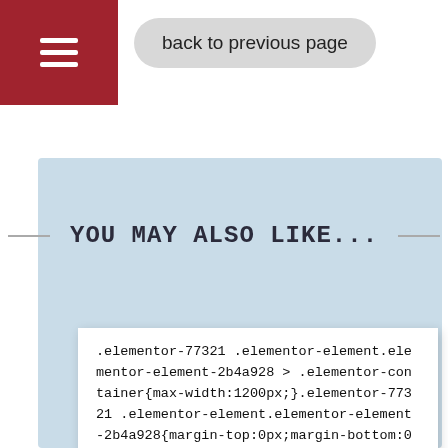back to previous page
YOU MAY ALSO LIKE...
.elementor-77321 .elementor-element.elementor-element-2b4a928 > .elementor-container{max-width:1200px;}.elementor-77321 .elementor-element.elementor-element-2b4a928{margin-top:0px;margin-bottom:0px;padding:0px 0px 0px 0px;}.elementor-77321 .elementor-element.elementor-element-84aa596 > .elementor-element-populated{margin:0px 0px 0px 0px;--e-column-margin-right:0px;--e-column-margin-left:0px;padding:0px 0px 0px 0px;}.elementor-